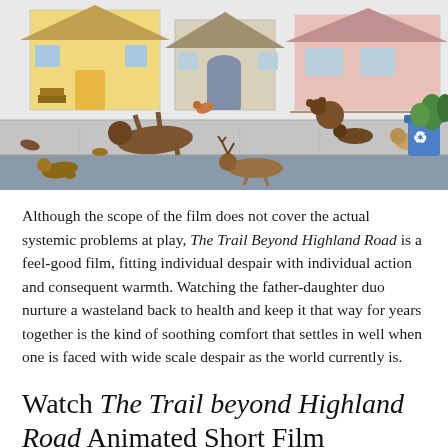[Figure (illustration): Animated illustration showing a suburban street scene with various animals (deer, dogs, bears, etc.) collapsed or lying on the sidewalk and road in front of colorful houses, with a blue recycling bin visible on the right.]
Although the scope of the film does not cover the actual systemic problems at play, The Trail Beyond Highland Road is a feel-good film, fitting individual despair with individual action and consequent warmth. Watching the father-daughter duo nurture a wasteland back to health and keep it that way for years together is the kind of soothing comfort that settles in well when one is faced with wide scale despair as the world currently is.
Watch The Trail beyond Highland Road Animated Short Film